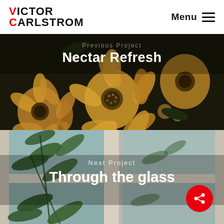VICTOR CARLSTROM | Menu
Nectar Refresh
[Figure (photo): Close-up photo of yellow chrysanthemum flowers on a dark background]
Next Project
Through the glass
[Figure (photo): Photo of a window with green leafy plants visible through the glass panes]